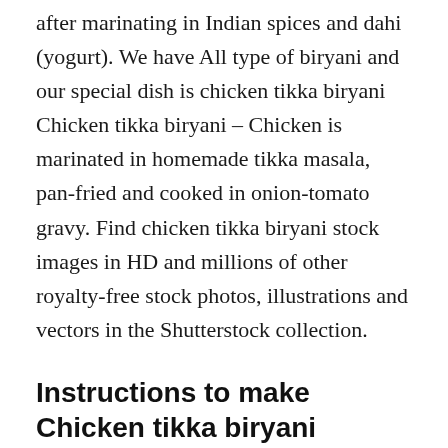after marinating in Indian spices and dahi (yogurt). We have All type of biryani and our special dish is chicken tikka biryani Chicken tikka biryani – Chicken is marinated in homemade tikka masala, pan-fried and cooked in onion-tomato gravy. Find chicken tikka biryani stock images in HD and millions of other royalty-free stock photos, illustrations and vectors in the Shutterstock collection.
Instructions to make Chicken tikka biryani #cookpadApp #kobabandcookpad:
1. Subse phele chicken ko wash kar k sub ingre se marinate kar k 2 hours rakh dein